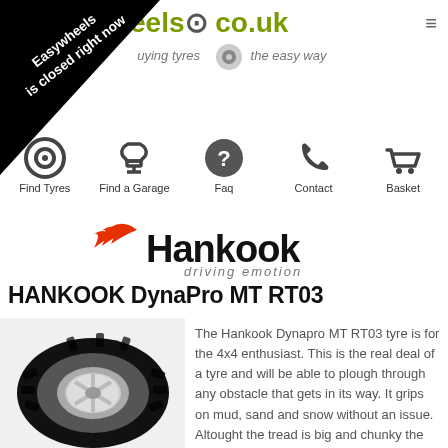[Figure (screenshot): Easywheels website header with logo text 'wheels co.uk - buying tyres the easy way' and black diagonal banner saying 'Easywheels is closed right now']
[Figure (infographic): Navigation icons row: Find Tyres (target icon), Find a Garage (wrench icon), Faq (question mark icon), Contact (phone icon), Basket (shopping cart icon)]
[Figure (logo): Hankook driving emotion logo with red swoosh and black text]
HANKOOK DynaPro MT RT03
[Figure (photo): Hankook DynaPro MT RT03 tyre with chunky mud-terrain tread pattern on a silver wheel]
The Hankook Dynapro MT RT03 tyre is for the 4x4 enthusiast. This is the real deal of a tyre and will be able to plough through any obstacle that gets in its way. It grips on mud, sand and snow without an issue. Altought the tread is big and chunky the